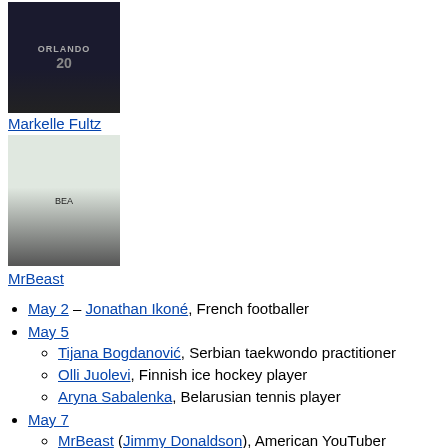[Figure (photo): Basketball player wearing Orlando Magic jersey number 20, holding a basketball, with tattoos visible]
Markelle Fultz
[Figure (photo): Young man wearing a cap and black MrBeast sweatshirt, holding a camera]
MrBeast
May 2 – Jonathan Ikoné, French footballer
May 5
Tijana Bogdanović, Serbian taekwondo practitioner
Olli Juolevi, Finnish ice hockey player
Aryna Sabalenka, Belarusian tennis player
May 7
MrBeast (Jimmy Donaldson), American YouTuber
Dani Olmo, Spanish footballer